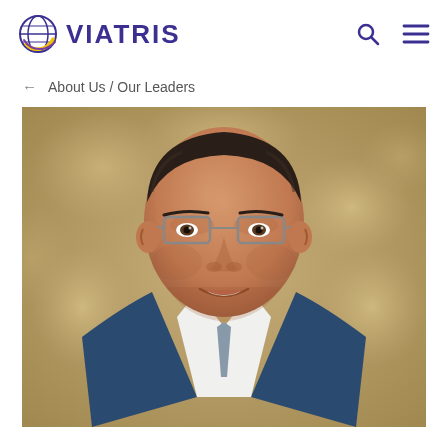VIATRIS
← About Us / Our Leaders
[Figure (photo): Professional headshot of a middle-aged man with dark hair combed back, wearing glasses, a white shirt and blue blazer, smiling, against a blurred warm golden/beige background]